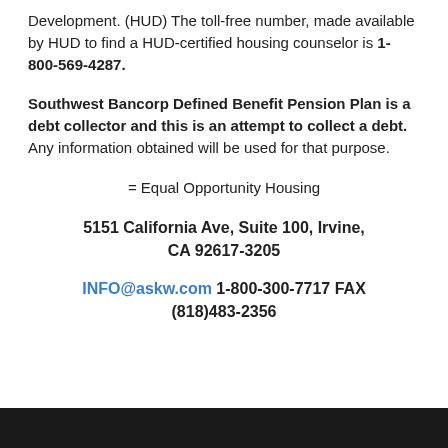Development. (HUD) The toll-free number, made available by HUD to find a HUD-certified housing counselor is 1-800-569-4287.
Southwest Bancorp Defined Benefit Pension Plan is a debt collector and this is an attempt to collect a debt. Any information obtained will be used for that purpose.
= Equal Opportunity Housing
5151 California Ave, Suite 100, Irvine, CA 92617-3205
INFO@askw.com 1-800-300-7717 FAX (818)483-2356